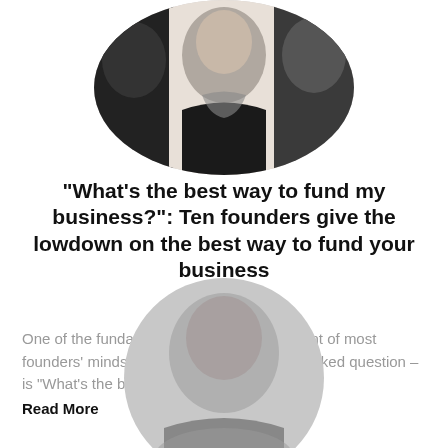[Figure (photo): Circular cropped composite photo showing three founders/people at the top of the page]
“What’s the best way to fund my business?”: Ten founders give the lowdown on the best way to fund your business
One of the fundamental questions at the front of most founders’ minds – and the most frequently asked question – is “What’s the best
Read More
[Figure (photo): Circular cropped photo at the bottom of the page showing a person, partially visible]